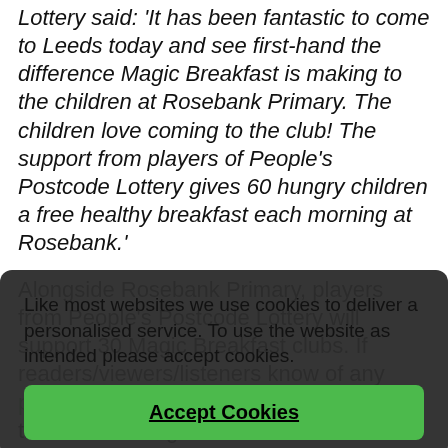Lottery said: 'It has been fantastic to come to Leeds today and see first-hand the difference Magic Breakfast is making to the children at Rosebank Primary. The children love coming to the club! The support from players of People's Postcode Lottery gives 60 hungry children a free healthy breakfast each morning at Rosebank.'
Alongside Rosebank Primary, players from People's Postcode Lottery will support 30 Magic Breakfast clubs. If readers/viewers/listeners know of any primary schools without breakfast clubs in the North of England with 35% of children eligible for free School Meals, please advise
Like most websites we use cookies to deliver a personalised service. To use the website as intended please accept cookies.
Accept Cookies